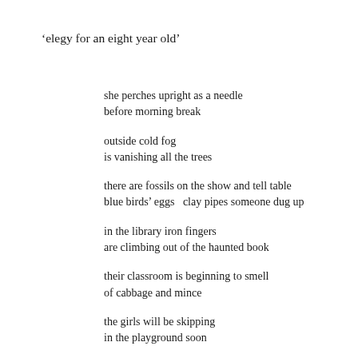‘elegy for an eight year old’
she perches upright as a needle
before morning break

outside cold fog
is vanishing all the trees

there are fossils on the show and tell table
blue birds’ eggs   clay pipes someone dug up

in the library iron fingers
are climbing out of the haunted book

their classroom is beginning to smell
of cabbage and mince

the girls will be skipping
in the playground soon